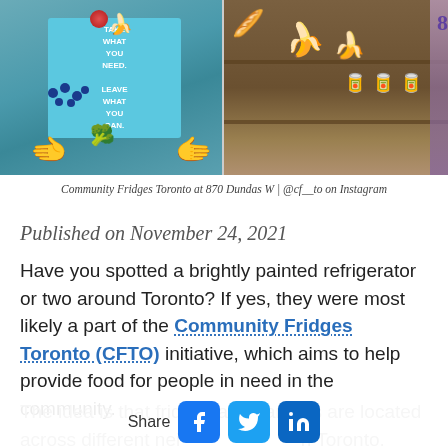[Figure (photo): Two photos side by side: left shows a community fridge painted in blue with the text 'TAKE WHAT YOU NEED. LEAVE WHAT YOU CAN.' with illustrated hands and food items; right shows a wooden shelf stocked with bananas, bread, and canned goods.]
Community Fridges Toronto at 870 Dundas W | @cf__to on Instagram
Published on November 24, 2021
Have you spotted a brightly painted refrigerator or two around Toronto? If yes, they were most likely a part of the Community Fridges Toronto (CFTO) initiative, which aims to help provide food for people in need in the community.
The idea is that fridges and pantries are located across different neighbourhoods in Toronto.